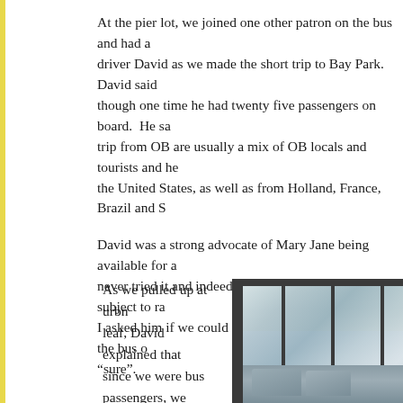At the pier lot, we joined one other patron on the bus and had a driver David as we made the short trip to Bay Park. David said though one time he had twenty five passengers on board. He sa trip from OB are usually a mix of OB locals and tourists and he the United States, as well as from Holland, France, Brazil and S
David was a strong advocate of Mary Jane being available for a never tried it and indeed can't smoke because he is subject to ra I asked him if we could smoke or vape some reefer on the bus o “sure”.
As we pulled up at urbn leaf, David explained that since we were bus passengers, we would be able to skip the line of customers inside the store so we could be back in
[Figure (photo): Interior photo showing large glass windows with dark frames, trees visible outside, and grey sofa/seating area in foreground. The image has a bright, washed-out quality suggesting a cannabis dispensary or modern lounge space.]